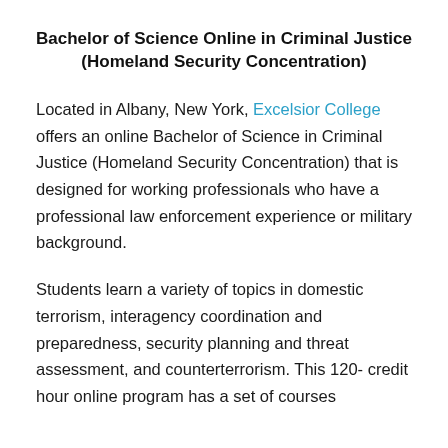Bachelor of Science Online in Criminal Justice (Homeland Security Concentration)
Located in Albany, New York, Excelsior College offers an online Bachelor of Science in Criminal Justice (Homeland Security Concentration) that is designed for working professionals who have a professional law enforcement experience or military background.
Students learn a variety of topics in domestic terrorism, interagency coordination and preparedness, security planning and threat assessment, and counterterrorism. This 120-credit hour online program has a set of courses